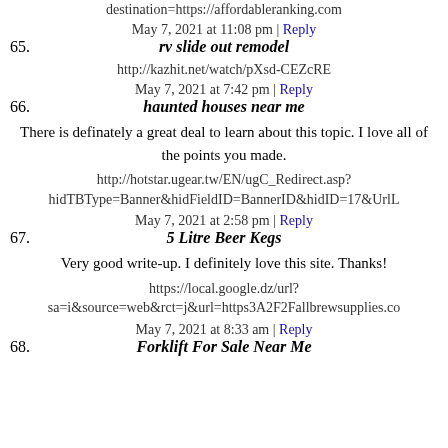destination=https://affordableranking.com
May 7, 2021 at 11:08 pm | Reply
65. rv slide out remodel
http://kazhit.net/watch/pXsd-CEZcRE
May 7, 2021 at 7:42 pm | Reply
66. haunted houses near me
There is definately a great deal to learn about this topic. I love all of the points you made.
http://hotstar.ugear.tw/EN/ugC_Redirect.asp?hidTBType=Banner&hidFieldID=BannerID&hidID=17&UrlL
May 7, 2021 at 2:58 pm | Reply
67. 5 Litre Beer Kegs
Very good write-up. I definitely love this site. Thanks!
https://local.google.dz/url?sa=i&source=web&rct=j&url=https3A2F2Fallbrewsupplies.co
May 7, 2021 at 8:33 am | Reply
68. Forklift For Sale Near Me